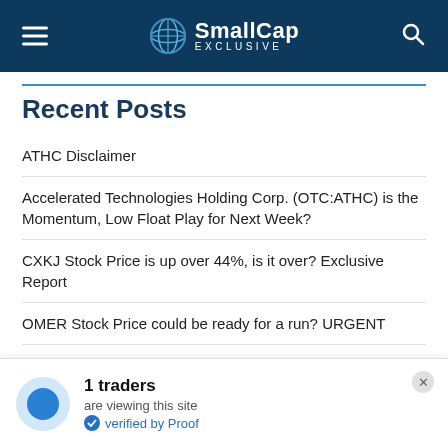SmallCap EXCLUSIVE
Recent Posts
ATHC Disclaimer
Accelerated Technologies Holding Corp. (OTC:ATHC) is the Momentum, Low Float Play for Next Week?
CXKJ Stock Price is up over 44%, is it over? Exclusive Report
OMER Stock Price could be ready for a run? URGENT
SFET stock price, is it time to sell or rebuy? Exclusive analysis! URGENT
1 traders are viewing this site verified by Proof